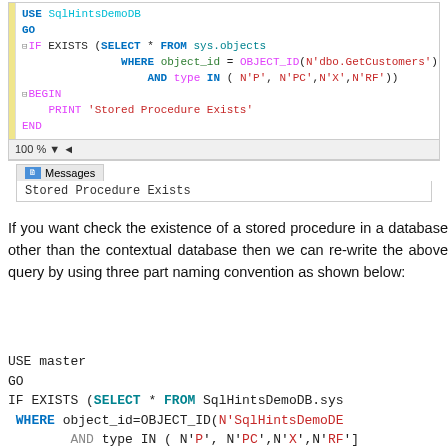[Figure (screenshot): SQL Server Management Studio code editor showing a T-SQL script that checks if a stored procedure exists using sys.objects, with a Messages output panel showing 'Stored Procedure Exists']
If you want check the existence of a stored procedure in a database other than the contextual database then we can re-write the above query by using three part naming convention as shown below:
USE master
GO
IF EXISTS (SELECT * FROM SqlHintsDemoDB.sys WHERE object_id=OBJECT_ID(N'SqlHintsDemoDE AND type IN ( N'P', N'PC',N'X',N'RF')
BEGIN
    PRINT 'Stored Procedure Exists'